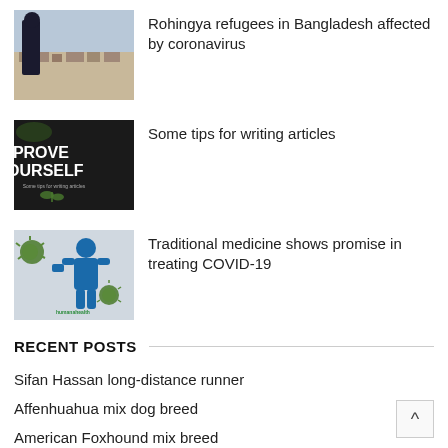[Figure (photo): Person standing overlooking a dense informal settlement, Rohingya refugee camp in Bangladesh]
Rohingya refugees in Bangladesh affected by coronavirus
[Figure (photo): Dark background with text 'IMPROVE YOURSELF' in white, article writing tips image]
Some tips for writing articles
[Figure (photo): Blue human figure holding up hand with coronavirus particles, traditional medicine COVID-19 image]
Traditional medicine shows promise in treating COVID-19
RECENT POSTS
Sifan Hassan long-distance runner
Affenhuahua mix dog breed
American Foxhound mix breed